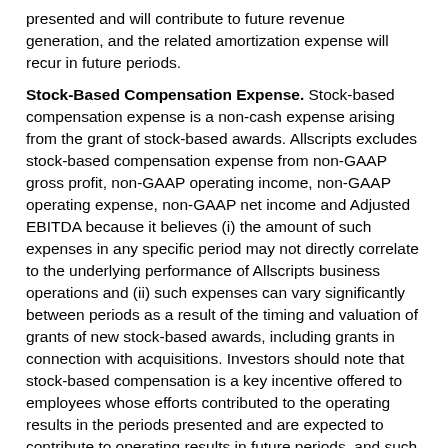presented and will contribute to future revenue generation, and the related amortization expense will recur in future periods.
Stock-Based Compensation Expense. Stock-based compensation expense is a non-cash expense arising from the grant of stock-based awards. Allscripts excludes stock-based compensation expense from non-GAAP gross profit, non-GAAP operating income, non-GAAP operating expense, non-GAAP net income and Adjusted EBITDA because it believes (i) the amount of such expenses in any specific period may not directly correlate to the underlying performance of Allscripts business operations and (ii) such expenses can vary significantly between periods as a result of the timing and valuation of grants of new stock-based awards, including grants in connection with acquisitions. Investors should note that stock-based compensation is a key incentive offered to employees whose efforts contributed to the operating results in the periods presented and are expected to contribute to operating results in future periods, and such expense will recur in future periods.
Impairments (recovery). Impairment charges reflect the